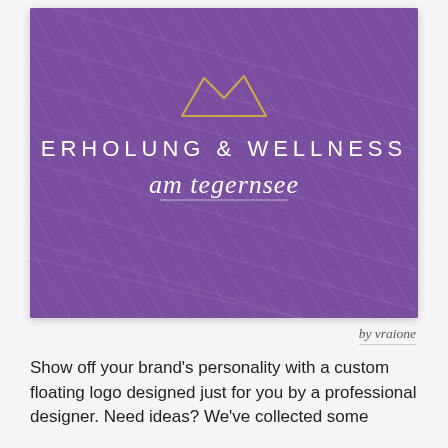[Figure (logo): Purple textured background with a gold mountain/trapezoid outline logo icon, text 'ERHOLUNG & WELLNESS' in white spaced sans-serif capitals, and cursive script 'am tegernsee' in white below.]
by vraione
Show off your brand's personality with a custom floating logo designed just for you by a professional designer. Need ideas? We've collected some